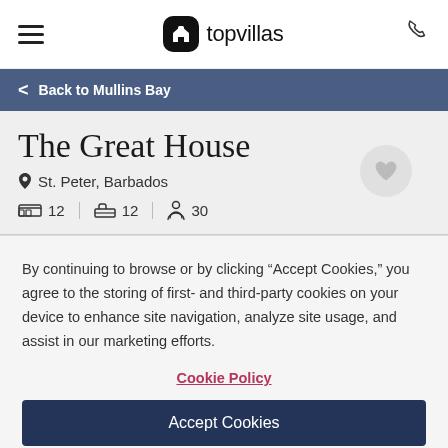topvillas
Back to Mullins Bay
The Great House
St. Peter, Barbados
12  12  30
By continuing to browse or by clicking “Accept Cookies,” you agree to the storing of first- and third-party cookies on your device to enhance site navigation, analyze site usage, and assist in our marketing efforts.
Cookie Policy
Accept Cookies